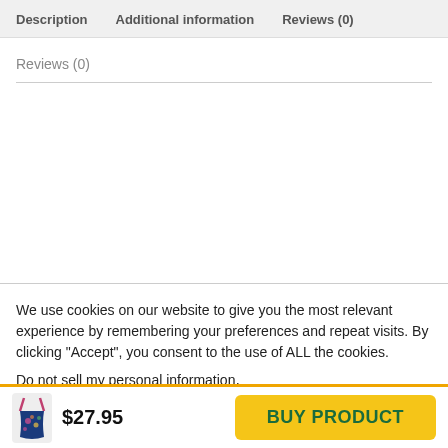Description   Additional information   Reviews (0)
Reviews (0)
We use cookies on our website to give you the most relevant experience by remembering your preferences and repeat visits. By clicking “Accept”, you consent to the use of ALL the cookies.
Do not sell my personal information.
$27.95
BUY PRODUCT